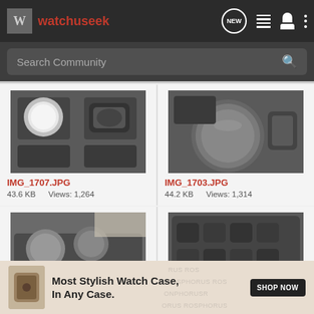watchuseek
Search Community
[Figure (photo): Watch case with two watches in dark foam inserts — IMG_1707.JPG]
IMG_1707.JPG
43.6 KB    Views: 1,264
[Figure (photo): Watch case with watches in dark foam inserts — IMG_1703.JPG]
IMG_1703.JPG
44.2 KB    Views: 1,314
[Figure (photo): Watch case with multiple watches including puck-style watches]
[Figure (photo): Open watch case showing multiple small watches in dark foam]
[Figure (photo): Advertisement: Most Stylish Watch Case, In Any Case. — SHOP NOW]
Most Stylish Watch Case, In Any Case.